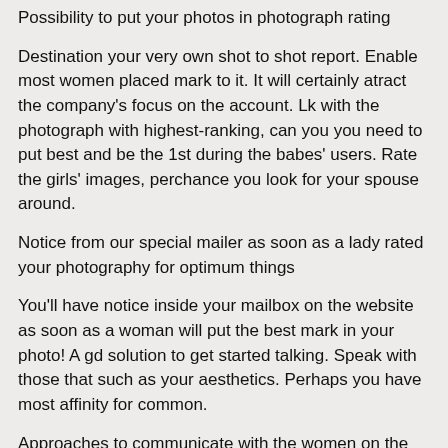Possibility to put your photos in photograph rating
Destination your very own shot to shot report. Enable most women placed mark to it. It will certainly atract the company’s focus on the account. Lk with the photograph with highest-ranking, can you you need to put best and be the 1st during the babes’ users. Rate the girls’ images, perchance you look for your spouse around.
Notice from our special mailer as soon as a lady rated your photography for optimum things
You’ll have notice inside your mailbox on the website as soon as a woman will put the best mark in your photo! A gd solution to get started talking. Speak with those that such as your aesthetics. Perhaps you have most affinity for common.
Approaches to communicate with the women on the internet site
The internet site provide ways to get started exposure to Russian girls: postcards, winks, ice-breaks, fast communications.
If you need a far better number of teenagers addressing the messages, deliver a shorter letter to them in which you compose exactly what attracted the consideration in their profiles. End up being a gentleman!